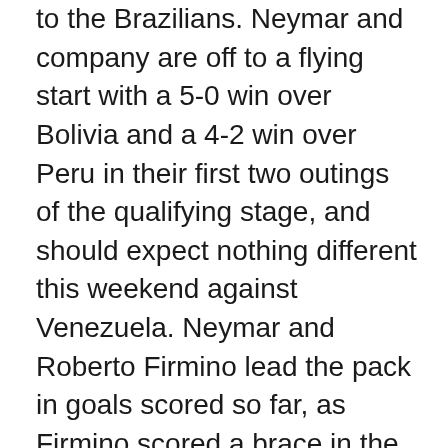to the Brazilians. Neymar and company are off to a flying start with a 5-0 win over Bolivia and a 4-2 win over Peru in their first two outings of the qualifying stage, and should expect nothing different this weekend against Venezuela. Neymar and Roberto Firmino lead the pack in goals scored so far, as Firmino scored a brace in the opening match against Bolivia while Neymar bagged a hat-trick in the very next game against Peru. Venezuela finds themselves in the complete opposite situation as not only are they still searching for their first points of the campaign, but their first goal as well. They've been outscored 4-0 by their opponents through the first two qualifying games, falling 3-0 to Colombia followed by a 1-0 loss to Paraguay. Brazil are obviously the heavy favorites here with a stacked roster including the aforementioned Neymar and